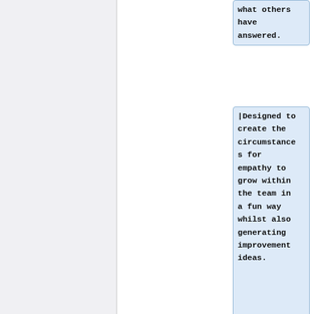what others have answered.
|Designed to create the circumstances for empathy to grow within the team in a fun way whilst also generating improvement ideas.
|30-60
|-
|-
Revision as of 01:58, 2 July